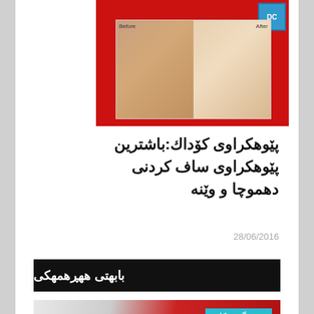[Figure (photo): Before and after photo comparison of a child's face on red background with logo]
پێوهکراوی کۆداك:باشترین پێوهکراوی ساف کردنی دهموچا و وێنه
28/06/2016
بابهتی ههڕهمهکی
[Figure (photo): YouTube logo close-up on keyboard with cyan badge labeled وێب گهڕهکان]